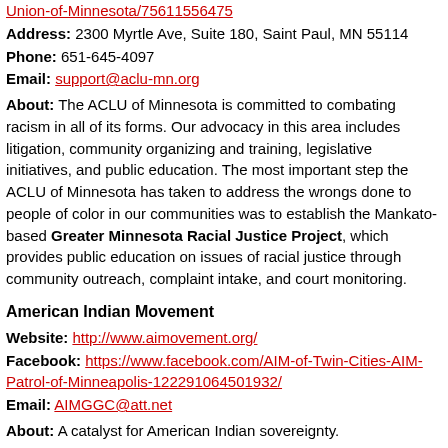Union-of-Minnesota/75611556475 (link)
Address: 2300 Myrtle Ave, Suite 180, Saint Paul, MN 55114
Phone: 651-645-4097
Email: support@aclu-mn.org
About: The ACLU of Minnesota is committed to combating racism in all of its forms. Our advocacy in this area includes litigation, community organizing and training, legislative initiatives, and public education. The most important step the ACLU of Minnesota has taken to address the wrongs done to people of color in our communities was to establish the Mankato-based Greater Minnesota Racial Justice Project, which provides public education on issues of racial justice through community outreach, complaint intake, and court monitoring.
American Indian Movement
Website: http://www.aimovement.org/
Facebook: https://www.facebook.com/AIM-of-Twin-Cities-AIM-Patrol-of-Minneapolis-122291064501932/
Email: AIMGGC@att.net
About: A catalyst for American Indian sovereignty.